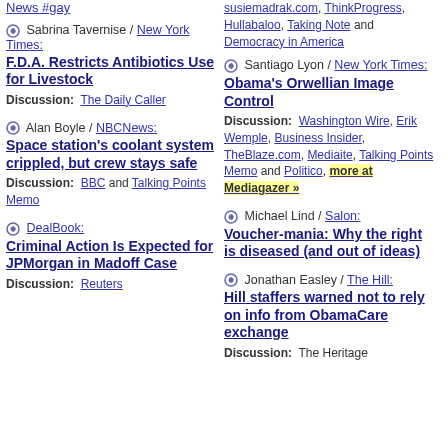News #gay (link, left column top)
Sabrina Tavernise / New York Times: F.D.A. Restricts Antibiotics Use for Livestock — Discussion: The Daily Caller
Alan Boyle / NBCNews: Space station's coolant system crippled, but crew stays safe — Discussion: BBC and Talking Points Memo
DealBook: Criminal Action Is Expected for JPMorgan in Madoff Case — Discussion: Reuters
susiemadrak.com, ThinkProgress, Hullabaloo, Taking Note and Democracy in America (right column top)
Santiago Lyon / New York Times: Obama's Orwellian Image Control — Discussion: Washington Wire, Erik Wemple, Business Insider, TheBlaze.com, Mediaite, Talking Points Memo and Politico, more at Mediagazer »
Michael Lind / Salon: Voucher-mania: Why the right is diseased (and out of ideas)
Jonathan Easley / The Hill: Hill staffers warned not to rely on info from ObamaCare exchange — Discussion: The Heritage